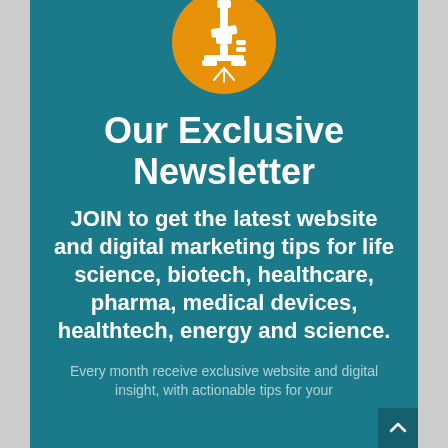[Figure (illustration): Orange circle with white microscope icon centered at the top of the page]
Our Exclusive Newsletter
JOIN to get the latest website and digital marketing tips for life science, biotech, healthcare, pharma, medical devices, healthtech, energy and science.
Every month receive exclusive website and digital insight, with actionable tips for your